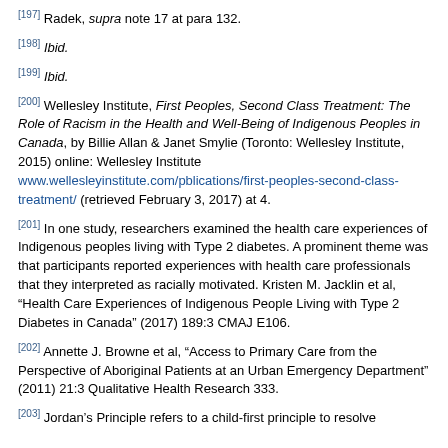[197] Radek, supra note 17 at para 132.
[198] Ibid.
[199] Ibid.
[200] Wellesley Institute, First Peoples, Second Class Treatment: The Role of Racism in the Health and Well-Being of Indigenous Peoples in Canada, by Billie Allan & Janet Smylie (Toronto: Wellesley Institute, 2015) online: Wellesley Institute www.wellesleyinstitute.com/pblications/first-peoples-second-class-treatment/ (retrieved February 3, 2017) at 4.
[201] In one study, researchers examined the health care experiences of Indigenous peoples living with Type 2 diabetes. A prominent theme was that participants reported experiences with health care professionals that they interpreted as racially motivated. Kristen M. Jacklin et al, “Health Care Experiences of Indigenous People Living with Type 2 Diabetes in Canada” (2017) 189:3 CMAJ E106.
[202] Annette J. Browne et al, “Access to Primary Care from the Perspective of Aboriginal Patients at an Urban Emergency Department” (2011) 21:3 Qualitative Health Research 333.
[203] Jordan’s Principle refers to a child-first principle to resolve...